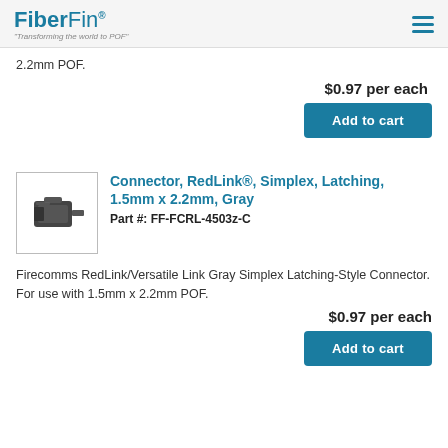FiberFin® "Transforming the world to POF"
2.2mm POF.
$0.97 per each
Add to cart
[Figure (photo): Gray simplex latching RedLink connector for 1.5mm x 2.2mm POF fiber]
Connector, RedLink®, Simplex, Latching, 1.5mm x 2.2mm, Gray
Part #: FF-FCRL-4503z-C
Firecomms RedLink/Versatile Link Gray Simplex Latching-Style Connector. For use with 1.5mm x 2.2mm POF.
$0.97 per each
Add to cart